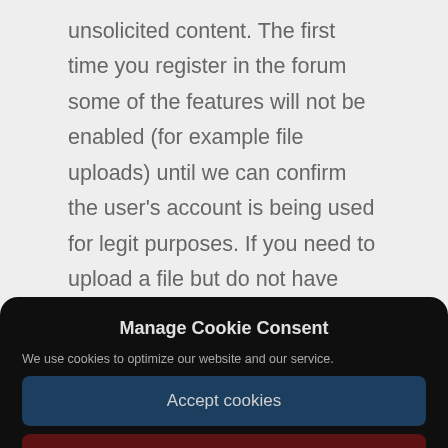unsolicited content. The first time you register in the forum some of the features will not be enabled (for example file uploads) until we can confirm the user's account is being used for legit purposes. If you need to upload a file but do not have access please use the form
Manage Cookie Consent
We use cookies to optimize our website and our service.
Accept cookies
Deny
View preferences
Cookie Policy   Privacy Statement